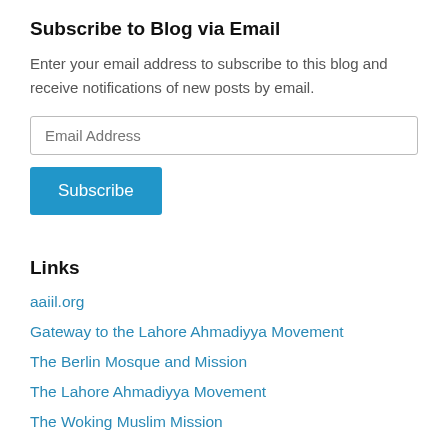Subscribe to Blog via Email
Enter your email address to subscribe to this blog and receive notifications of new posts by email.
Links
aaiil.org
Gateway to the Lahore Ahmadiyya Movement
The Berlin Mosque and Mission
The Lahore Ahmadiyya Movement
The Woking Muslim Mission